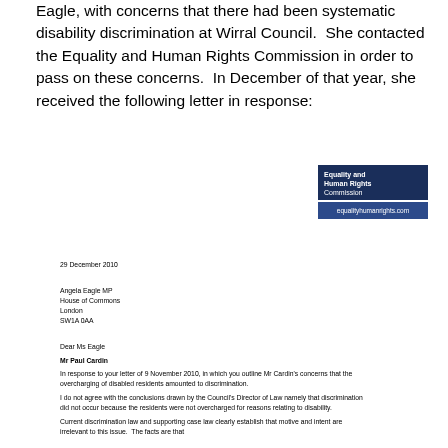Eagle, with concerns that there had been systematic disability discrimination at Wirral Council. She contacted the Equality and Human Rights Commission in order to pass on these concerns. In December of that year, she received the following letter in response:
[Figure (logo): Equality and Human Rights Commission logo with dark navy background, white text showing 'Equality and Human Rights Commission' and website 'equalityhumanrights.com']
29 December 2010
Angela Eagle MP
House of Commons
London
SW1A 0AA
Dear Ms Eagle
Mr Paul Cardin
In response to your letter of 9 November 2010, in which you outline Mr Cardin's concerns that the overcharging of disabled residents amounted to discrimination.
I do not agree with the conclusions drawn by the Council's Director of Law namely that discrimination did not occur because the residents were not overcharged for reasons relating to disability.
Current discrimination law and supporting case law clearly establish that motive and intent are irrelevant to this issue. The facts are that